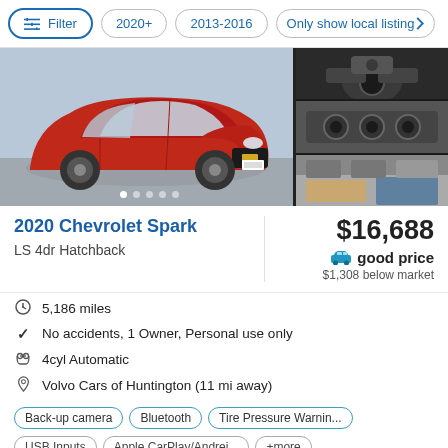Filter  2020+  2013-2016  Only show local listing >
[Figure (photo): Red 2020 Chevrolet Spark hatchback exterior shot with interior thumbnail photos on the right side. Five navigation dots visible at the bottom of the main image.]
2020 Chevrolet Spark
LS 4dr Hatchback
$16,688
good price
$1,308 below market
5,186 miles
No accidents, 1 Owner, Personal use only
4cyl Automatic
Volvo Cars of Huntington (11 mi away)
Back-up camera   Bluetooth   Tire Pressure Warnin...
USB Inputs   Apple CarPlay/Andrei...   +more